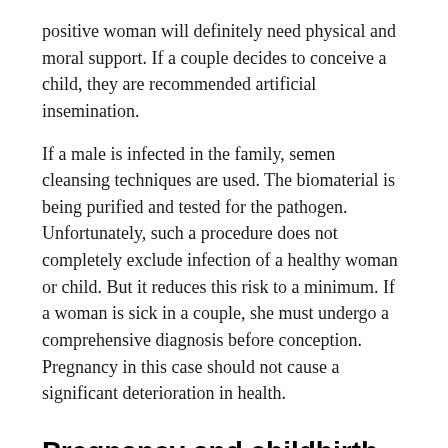positive woman will definitely need physical and moral support. If a couple decides to conceive a child, they are recommended artificial insemination.
If a male is infected in the family, semen cleansing techniques are used. The biomaterial is being purified and tested for the pathogen. Unfortunately, such a procedure does not completely exclude infection of a healthy woman or child. But it reduces this risk to a minimum. If a woman is sick in a couple, she must undergo a comprehensive diagnosis before conception. Pregnancy in this case should not cause a significant deterioration in health.
Pregnancy and childbirth
HIV infection is not a contraindication for childbearing. For a positive woman, the percentage of success depends on the...